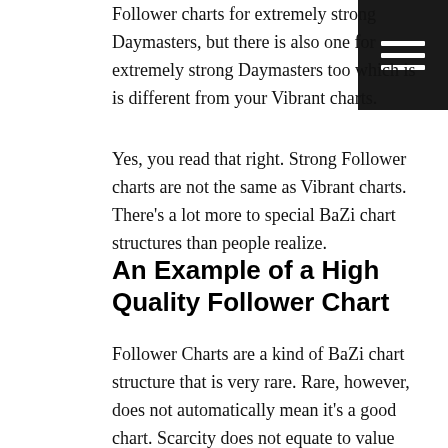Follower charts for extremely strong Daymasters, but there is also one for extremely strong Daymasters too which is is different from your Vibrant charts.
Yes, you read that right. Strong Follower charts are not the same as Vibrant charts. There's a lot more to special BaZi chart structures than people realize.
An Example of a High Quality Follower Chart
Follower Charts are a kind of BaZi chart structure that is very rare. Rare, however, does not automatically mean it's a good chart. Scarcity does not equate to value when it comes to Chinese metaphysics. The term “Follower” comes from the Chinese word cong (  ) which can also mean to submit to, and what we are submitting to here is